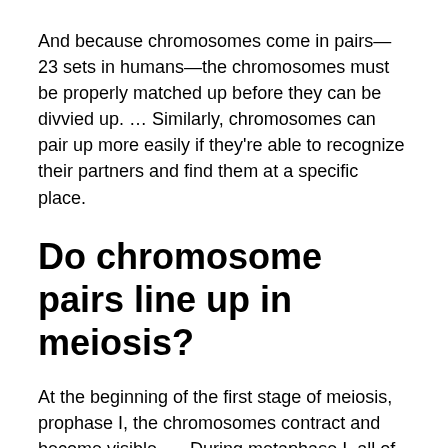And because chromosomes come in pairs—23 sets in humans—the chromosomes must be properly matched up before they can be divvied up. … Similarly, chromosomes can pair up more easily if they're able to recognize their partners and find them at a specific place.
Do chromosome pairs line up in meiosis?
At the beginning of the first stage of meiosis, prophase I, the chromosomes contract and become visible. … During metaphase I, all of the doubled homologous chromosome pairs line up along the midline of the cell between the two centri...